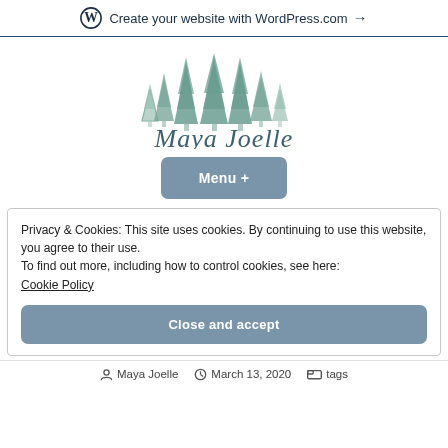Create your website with WordPress.com →
[Figure (logo): Maya Joelle blog logo: illustrated pine trees above cursive script text reading 'Maya Joelle']
Menu +
Privacy & Cookies: This site uses cookies. By continuing to use this website, you agree to their use. To find out more, including how to control cookies, see here: Cookie Policy
Close and accept
Maya Joelle   March 13, 2020   tags